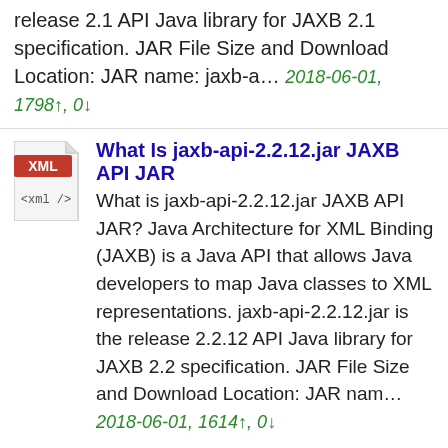...to XML representations. jaxb-api-2.1.jar is the release 2.1 API Java library for JAXB 2.1 specification. JAR File Size and Download Location: JAR name: jaxb-a… 2018-06-01, 1798↑, 0↓
What Is jaxb-api-2.2.12.jar JAXB API JAR
What is jaxb-api-2.2.12.jar JAXB API JAR? Java Architecture for XML Binding (JAXB) is a Java API that allows Java developers to map Java classes to XML representations. jaxb-api-2.2.12.jar is the release 2.2.12 API Java library for JAXB 2.2 specification. JAR File Size and Download Location: JAR nam… 2018-06-01, 1614↑, 0↓
Download jaxb-api-2.1.jar File
How to download jaxb-api-2.1.jar File? Java Architecture for XML Binding (JAXB) is a Java API that allows Java developers to map Java...